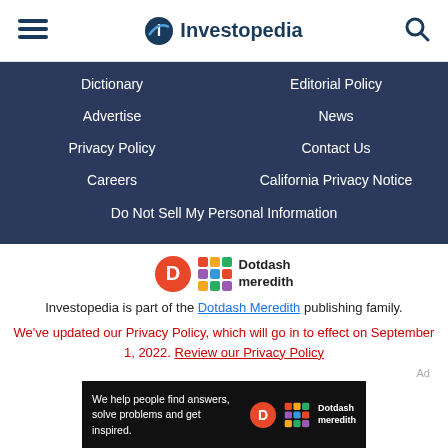Investopedia
Dictionary
Editorial Policy
Advertise
News
Privacy Policy
Contact Us
Careers
California Privacy Notice
Do Not Sell My Personal Information
[Figure (logo): Dotdash Meredith logo — orange D circle and colorful grid pattern icon with text 'Dotdash meredith']
Investopedia is part of the Dotdash Meredith publishing family.
We've updated our Privacy Policy, which will go in to effect on September 1, 2022. Review our Privacy Policy
[Figure (photo): Ad banner: black background with white text 'We help people find answers, solve problems and get inspired.' and Dotdash Meredith logo on right]